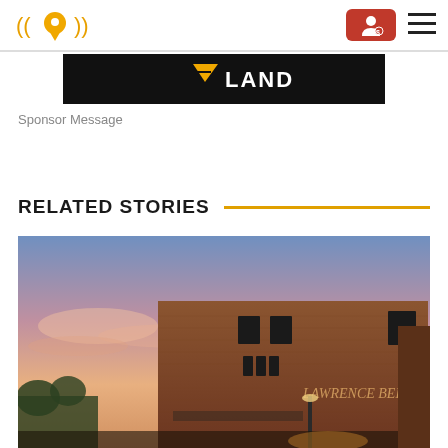Site header with logo, account button, and hamburger menu
[Figure (logo): Orange location pin with radio wave lines on both sides, forming a podcast/radio logo]
[Figure (illustration): Red button with white person/account icon]
[Figure (illustration): Hamburger menu icon with three horizontal lines]
[Figure (illustration): Black banner with orange downward arrow logo and white text reading LAND]
Sponsor Message
RELATED STORIES
[Figure (photo): Exterior photo of Lawrence Beer Co. brick building at sunset with pink and orange sky]